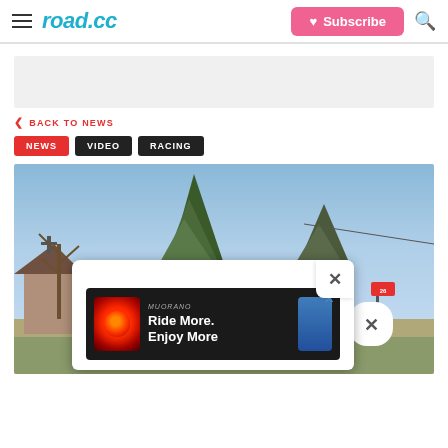road.cc — Subscribe
[Figure (other): Grey advertisement banner placeholder]
< BACK TO NEWS
NEWS
VIDEO
RACING
[Figure (photo): Outdoor photo showing trees, a building with a cross, blue sky, road signs, and an advertisement popup overlay for 'Ride More. Enjoy More' with a red bicycle light and a blue light shown on handlebars]